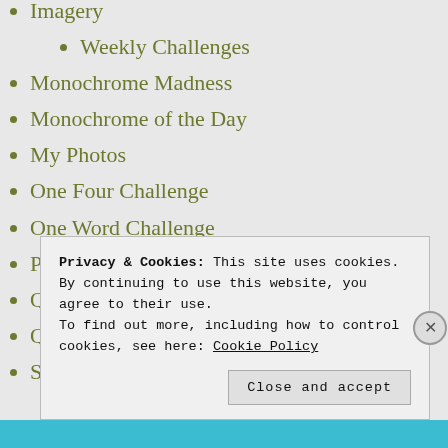Imagery
Weekly Challenges
Monochrome Madness
Monochrome of the Day
My Photos
One Four Challenge
One Word Challenge
Phoneography Challenge
Quote of the Week.
Quotes Challenge
Sally D's Mobile Photography Challenge
Privacy & Cookies: This site uses cookies. By continuing to use this website, you agree to their use.
To find out more, including how to control cookies, see here: Cookie Policy
Close and accept